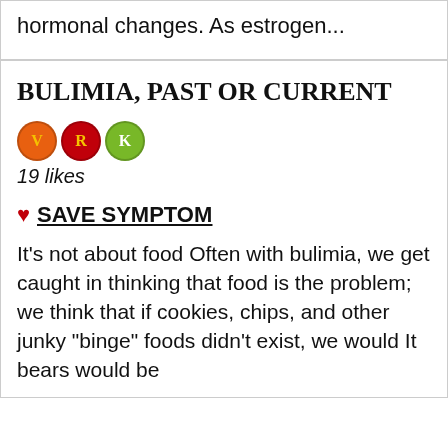hormonal changes. As estrogen...
BULIMIA, PAST OR CURRENT
[Figure (infographic): Three circular icons: orange circle with V, red circle with R, green circle with K]
19 likes
♥ SAVE SYMPTOM
It's not about food Often with bulimia, we get caught in thinking that food is the problem; we think that if cookies, chips, and other junky "binge" foods didn't exist, we would It bears would be